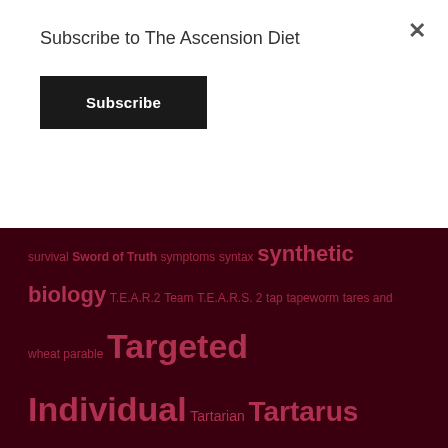Subscribe to The Ascension Diet
Subscribe
survival Sword of Truth symptoms syntax synthetic biology T.E.A.R.2 Team T.E.A.R.S. 2 tap tapeworm tares and wheat parable Targeted Individual Tartarian Tartarus Tavistock tea technocracy technology teenagers television television is programming temple of GOD TEOTWAWKI TEOTWAYKI terrorism tertiary testify testimonial testimony textiles that old serpent the 4th industrial revolution is hell The 5G Soultrap The Antarctic Treaty proves that we live under a dome surrounded by an icewall The Ascension Diet THE ASCENSION DIET Eating